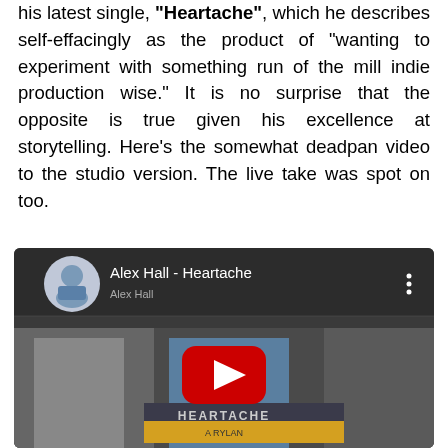his latest single, "Heartache", which he describes self-effacingly as the product of "wanting to experiment with something run of the mill indie production wise." It is no surprise that the opposite is true given his excellence at storytelling. Here's the somewhat deadpan video to the studio version. The live take was spot on too.
[Figure (screenshot): YouTube video embed showing 'Alex Hall - Heartache' with a circular avatar of a person in blue, video title, three-dot menu icon, and a red YouTube play button over a thumbnail of a person holding a sign reading 'HEARTACHE']